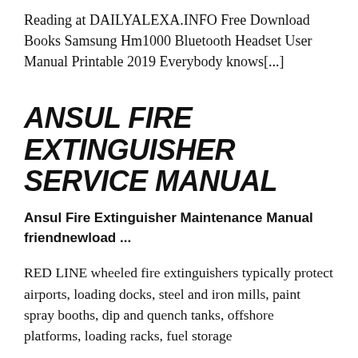Reading at DAILYALEXA.INFO Free Download Books Samsung Hm1000 Bluetooth Headset User Manual Printable 2019 Everybody knows[...]
ANSUL FIRE EXTINGUISHER SERVICE MANUAL
Ansul Fire Extinguisher Maintenance Manual friendnewload ...
RED LINE wheeled fire extinguishers typically protect airports, loading docks, steel and iron mills, paint spray booths, dip and quench tanks, offshore platforms, loading racks, fuel storage